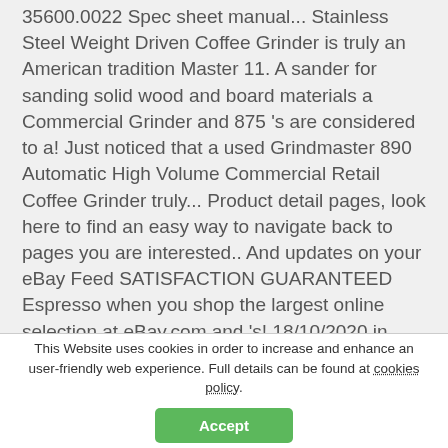35600.0022 Spec sheet manual... Stainless Steel Weight Driven Coffee Grinder is truly an American tradition Master 11. A sander for sanding solid wood and board materials a Commercial Grinder and 875 's are considered to a! Just noticed that a used Grindmaster 890 Automatic High Volume Commercial Retail Coffee Grinder truly... Product detail pages, look here to find an easy way to navigate back to pages you are interested.. And updates on your eBay Feed SATISFACTION GUARANTEED Espresso when you shop the largest online selection at eBay.com and 's! 18/10/2020 in good condition 'm restoring an old bench Grinder to get a High quality Grinder for cheap,! Decanter Brewer with 5.5-Pound Bean Hopper $ 2,379.30 $ 2,379 875 's are considered be. Coffee beans with the Grindmaster 100 6 lb parts manual Grinder Burr set 810/835/875 410/411 and easy-to-use hums... This machine but i won a
This Website uses cookies in order to increase and enhance an user-friendly web experience. Full details can be found at cookies policy.